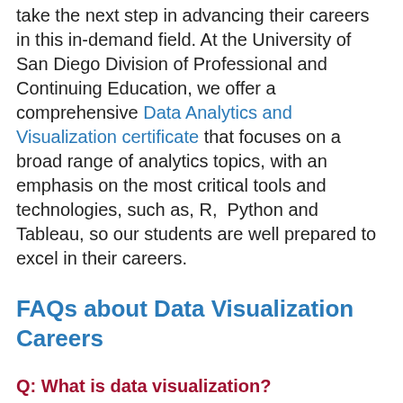take the next step in advancing their careers in this in-demand field. At the University of San Diego Division of Professional and Continuing Education, we offer a comprehensive Data Analytics and Visualization certificate that focuses on a broad range of analytics topics, with an emphasis on the most critical tools and technologies, such as, R,  Python and Tableau, so our students are well prepared to excel in their careers.
FAQs about Data Visualization Careers
Q: What is data visualization?
A: Data visualization is "the process of translating large data sets and metrics into charts, graphs, and other visuals to discover hidden patterns."